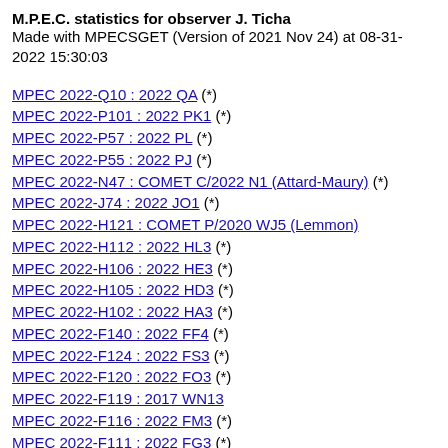M.P.E.C. statistics for observer J. Ticha
Made with MPECSGET (Version of 2021 Nov 24) at 08-31-2022 15:30:03
MPEC 2022-Q10 : 2022 QA (*)
MPEC 2022-P101 : 2022 PK1 (*)
MPEC 2022-P57 : 2022 PL (*)
MPEC 2022-P55 : 2022 PJ (*)
MPEC 2022-N47 : COMET C/2022 N1 (Attard-Maury) (*)
MPEC 2022-J74 : 2022 JO1 (*)
MPEC 2022-H121 : COMET P/2020 WJ5 (Lemmon)
MPEC 2022-H112 : 2022 HL3 (*)
MPEC 2022-H106 : 2022 HE3 (*)
MPEC 2022-H105 : 2022 HD3 (*)
MPEC 2022-H102 : 2022 HA3 (*)
MPEC 2022-F140 : 2022 FF4 (*)
MPEC 2022-F124 : 2022 FS3 (*)
MPEC 2022-F120 : 2022 FO3 (*)
MPEC 2022-F119 : 2017 WN13
MPEC 2022-F116 : 2022 FM3 (*)
MPEC 2022-F111 : 2022 FG3 (*)
MPEC 2022-F110 : 2022 FF3 (*)
MPEC 2022-F103 : 2022 FZ2 (*)
MPEC 2022-F101 : 2022 FV2 (*)
MPEC 2022-F09 : 2022 FT2 (*)